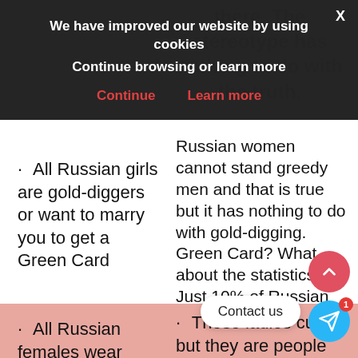[Figure (screenshot): Cookie consent banner overlay on dark background with title 'We have improved our website by using cookies', subtitle 'Continue browsing or learn more', and two red links: 'Continue' and 'Learn more'. An X close button is in the top right.]
· All Russian girls are gold-diggers or want to marry you to get a Green Card
Russian women cannot stand greedy men and that is true but it has nothing to do with gold-digging. Green Card? What about the statistics? – Just 10% of Russian women are ready to marry foreigners!
· All Russian females wear high heels and miniskirts wherever they go.
· These ladies cuties but they are people who can j… s, joggers, and everything that